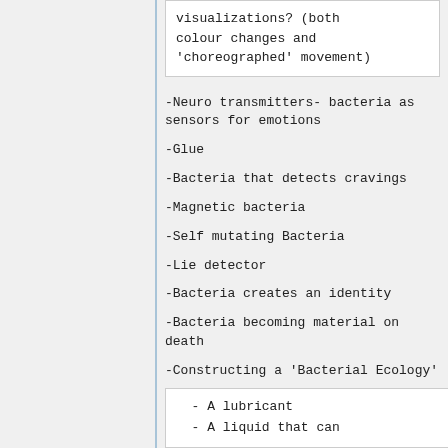visualizations? (both colour changes and 'choreographed' movement)
-Neuro transmitters- bacteria as sensors for emotions
-Glue
-Bacteria that detects cravings
-Magnetic bacteria
-Self mutating Bacteria
-Lie detector
-Bacteria creates an identity
-Bacteria becoming material on death
-Constructing a 'Bacterial Ecology'
-Bacteria that acts like oil
- A lubricant
- A liquid that can